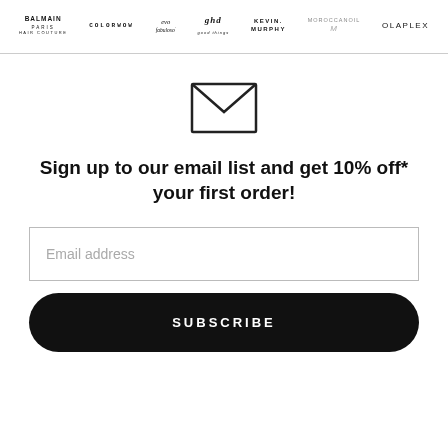[Figure (logo): Brand logos bar: BALMAIN PARIS, COLORWOW, evo fabuloso, ghd, KEVIN.MURPHY, MOROCCANOIL, OLAPLEX]
[Figure (illustration): Envelope icon outline]
Sign up to our email list and get 10% off* your first order!
Email address
SUBSCRIBE